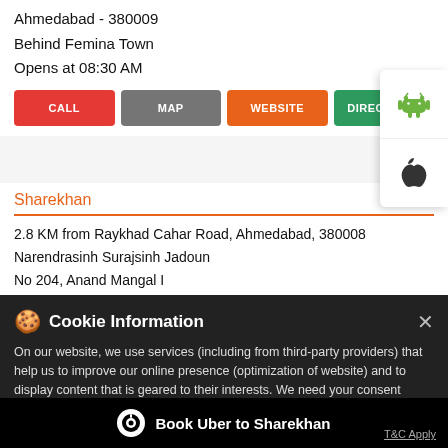Ahmedabad - 380009
Behind Femina Town
Opens at 08:30 AM
[Figure (screenshot): Action buttons row: CALL (red), MAP (gray), WEBSITE (orange), DIRECTIONS (green)]
[Figure (screenshot): Android and Apple app store icons popup on right side]
Sharekhan
2.8 KM from Raykhad Cahar Road, Ahmedabad, 380008
Narendrasinh Surajsinh Jadoun
No 204, Anand Mangal I
CG Road
Opens at 09:00 AM
[Figure (screenshot): Cookie Information banner overlay with close X button]
On our website, we use services (including from third-party providers) that help us to improve our online presence (optimization of website) and to display content that is geared to their interests. We need your consent before being able to use these services.
Book Uber to Sharekhan
T&C Apply